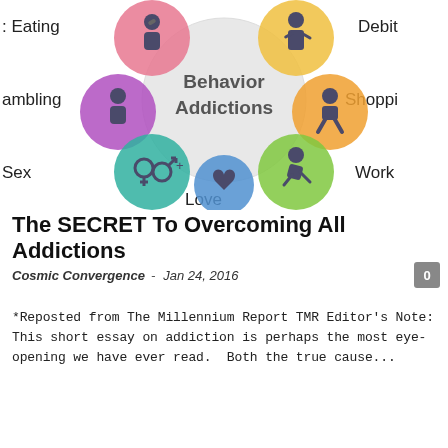[Figure (infographic): Behavior Addictions infographic showing a central gray circle labeled 'Behavior Addictions' surrounded by colored circles with icons representing different addictions: Eating (pink), Gambling (purple), Sex (teal), Love (blue, bottom center), Work (green), Shopping (yellow/orange), Debit (yellow). Labels appear around the circle arrangement.]
The SECRET To Overcoming All Addictions
Cosmic Convergence  -  Jan 24, 2016
*Reposted from The Millennium Report TMR Editor's Note: This short essay on addiction is perhaps the most eye-opening we have ever read.  Both the true cause...